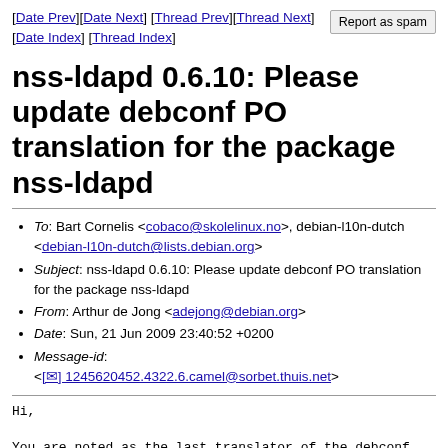[Date Prev][Date Next] [Thread Prev][Thread Next] [Date Index] [Thread Index]
nss-ldapd 0.6.10: Please update debconf PO translation for the package nss-ldapd
To: Bart Cornelis <cobaco@skolelinux.no>, debian-l10n-dutch <debian-l10n-dutch@lists.debian.org>
Subject: nss-ldapd 0.6.10: Please update debconf PO translation for the package nss-ldapd
From: Arthur de Jong <adejong@debian.org>
Date: Sun, 21 Jun 2009 23:40:52 +0200
Message-id: <[✉] 1245620452.4322.6.camel@sorbet.thuis.net>
Hi,
You are noted as the last translator of the debconf